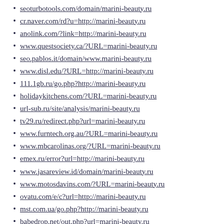seoturbotools.com/domain/marini-beauty.ru
cr.naver.com/rd?u=http://marini-beauty.ru
anolink.com/?link=http://marini-beauty.ru
www.questsociety.ca/?URL=marini-beauty.ru
seo.pablos.it/domain/www.marini-beauty.ru
www.disl.edu/?URL=http://marini-beauty.ru
111.1gb.ru/go.php?http://marini-beauty.ru
holidaykitchens.com/?URL=marini-beauty.ru
url-sub.ru/site/analysis/marini-beauty.ru
tv29.ru/redirect.php?url=marini-beauty.ru
www.furntech.org.au/?URL=marini-beauty.ru
www.mbcarolinas.org/?URL=marini-beauty.ru
emex.ru/error?url=http://marini-beauty.ru
www.jasareview.id/domain/marini-beauty.ru
www.motosdavins.com/?URL=marini-beauty.ru
ovatu.com/e/c?url=http://marini-beauty.ru
mst.com.ua/go.php?http://marini-beauty.ru
babedrop.net/out.php?url=marini-beauty.ru
www.a-31.de/url?q=http://marini-beauty.ru